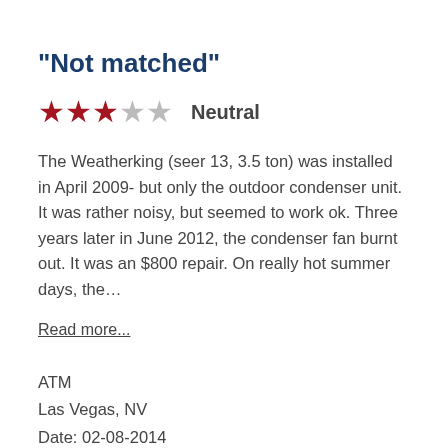"Not matched"
★★★☆☆  Neutral
The Weatherking (seer 13, 3.5 ton) was installed in April 2009- but only the outdoor condenser unit. It was rather noisy, but seemed to work ok. Three years later in June 2012, the condenser fan burnt out. It was an $800 repair. On really hot summer days, the…
Read more...
ATM
Las Vegas, NV
Date: 02-08-2014